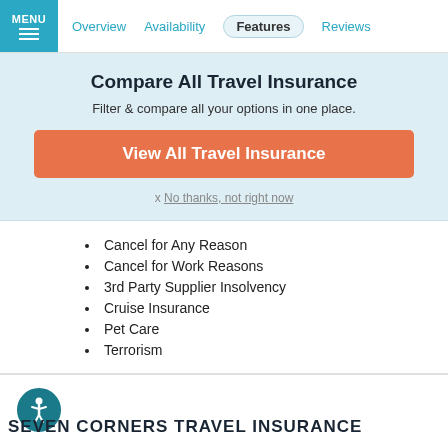MENU | Overview | Availability | Features | Reviews
Compare All Travel Insurance
Filter & compare all your options in one place.
View All Travel Insurance
x No thanks, not right now
Cancel for Any Reason
Cancel for Work Reasons
3rd Party Supplier Insolvency
Cruise Insurance
Pet Care
Terrorism
SEVEN CORNERS TRAVEL INSURANCE